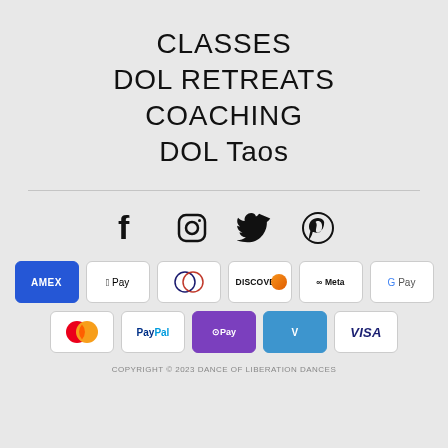CLASSES
DOL RETREATS
COACHING
DOL Taos
[Figure (infographic): Social media icons row: Facebook, Instagram, Twitter, Pinterest]
[Figure (infographic): Payment method badges row 1: American Express, Apple Pay, Diners Club, Discover, Meta Pay, Google Pay]
[Figure (infographic): Payment method badges row 2: Mastercard, PayPal, Shop Pay, Venmo, Visa]
COPYRIGHT © 2023 DANCE OF LIBERATION DANCES